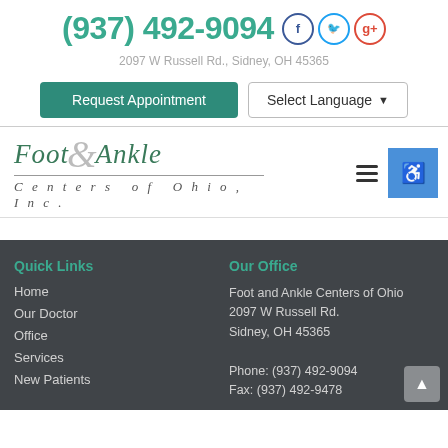(937) 492-9094
2097 W Russell Rd., Sidney, OH 45365
Request Appointment   Select Language
[Figure (logo): Foot & Ankle Centers of Ohio, Inc. logo in italic serif green and grey font]
Quick Links
Our Office
Home
Our Doctor
Office
Services
New Patients
Foot and Ankle Centers of Ohio
2097 W Russell Rd.
Sidney, OH 45365

Phone: (937) 492-9094
Fax: (937) 492-9478